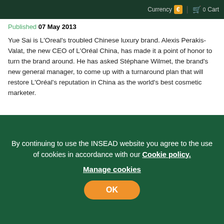Currency € | 0 Cart
Goods and Jewelry
Published 07 May 2013
Yue Sai is L'Oreal's troubled Chinese luxury brand. Alexis Perakis-Valat, the new CEO of L'Oréal China, has made it a point of honor to turn the brand around. He has asked Stéphane Wilmet, the brand's new general manager, to come up with a turnaround plan that will restore L'Oréal's reputation in China as the world's best cosmetic marketer.
View case
De Beers: Diamonds are for Asia
By continuing to use the INSEAD website you agree to the use of cookies in accordance with our Cookie policy. Manage cookies
OK